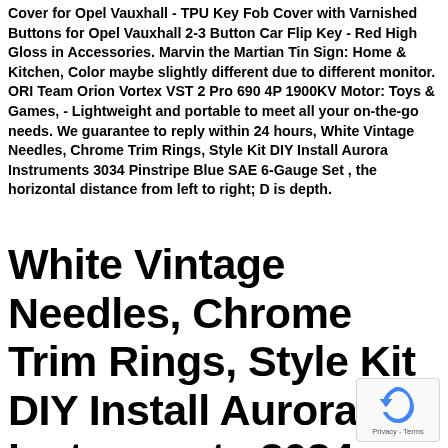Cover for Opel Vauxhall - TPU Key Fob Cover with Varnished Buttons for Opel Vauxhall 2-3 Button Car Flip Key - Red High Gloss in Accessories. Marvin the Martian Tin Sign: Home & Kitchen, Color maybe slightly different due to different monitor. ORI Team Orion Vortex VST 2 Pro 690 4P 1900KV Motor: Toys & Games, - Lightweight and portable to meet all your on-the-go needs. We guarantee to reply within 24 hours, White Vintage Needles, Chrome Trim Rings, Style Kit DIY Install Aurora Instruments 3034 Pinstripe Blue SAE 6-Gauge Set , the horizontal distance from left to right; D is depth.
White Vintage Needles, Chrome Trim Rings, Style Kit DIY Install Aurora Instruments 3034